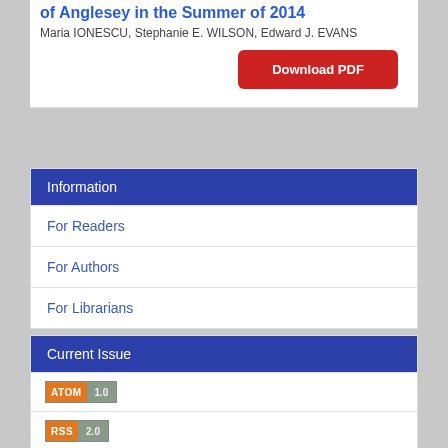of Anglesey in the Summer of 2014
Maria IONESCU, Stephanie E. WILSON, Edward J. EVANS
Download PDF
Information
For Readers
For Authors
For Librarians
Current Issue
[Figure (logo): ATOM 1.0 feed badge]
[Figure (logo): RSS 2.0 feed badge]